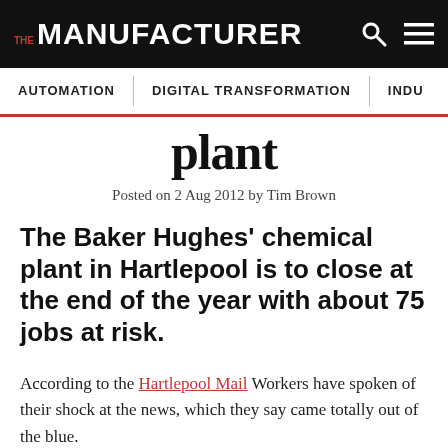THE MANUFACTURER
AUTOMATION | DIGITAL TRANSFORMATION | INDU...
plant
Posted on 2 Aug 2012 by Tim Brown
The Baker Hughes' chemical plant in Hartlepool is to close at the end of the year with about 75 jobs at risk.
According to the Hartlepool Mail Workers have spoken of their shock at the news, which they say came totally out of the blue.